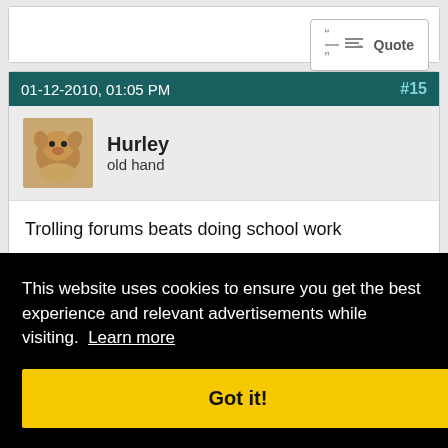Quote (button - top partial post)
01-12-2010, 01:05 PM   #15
Hurley
old hand
Trolling forums beats doing school work
Quote (button)
#16
This website uses cookies to ensure you get the best experience and relevant advertisements while visiting. Learn more
Got it!